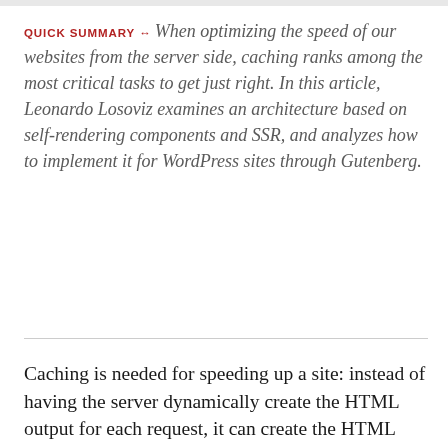QUICK SUMMARY ↔ When optimizing the speed of our websites from the server side, caching ranks among the most critical tasks to get just right. In this article, Leonardo Losoviz examines an architecture based on self-rendering components and SSR, and analyzes how to implement it for WordPress sites through Gutenberg.
Caching is needed for speeding up a site: instead of having the server dynamically create the HTML output for each request, it can create the HTML only after it is requested the first time,